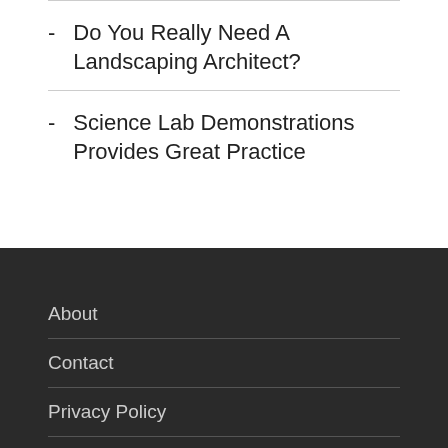- Do You Really Need A Landscaping Architect?
- Science Lab Demonstrations Provides Great Practice
About
Contact
Privacy Policy